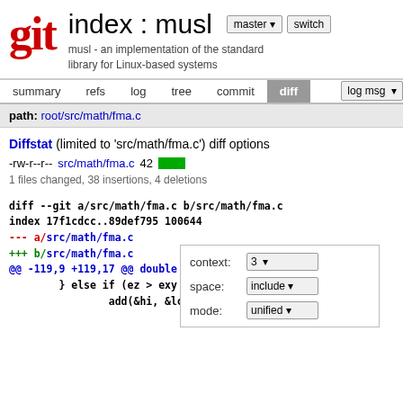[Figure (logo): Git logo - red stylized 'git' text]
index : musl
musl - an implementation of the standard library for Linux-based systems
summary   refs   log   tree   commit   diff   log msg
path: root/src/math/fma.c
Diffstat (limited to 'src/math/fma.c') diff options
-rw-r--r--  src/math/fma.c  42
1 files changed, 38 insertions, 4 deletions
context: 3
space: include
mode: unified
diff --git a/src/math/fma.c b/src/math/fma.c
index 17f1cdcc..89def795 100644
--- a/src/math/fma.c
+++ b/src/math/fma.c
@@ -119,9 +119,17 @@ double fma(double x, double y,
        } else if (ez > exy - 12) {
                add(&hi, &lo2, xy, z);